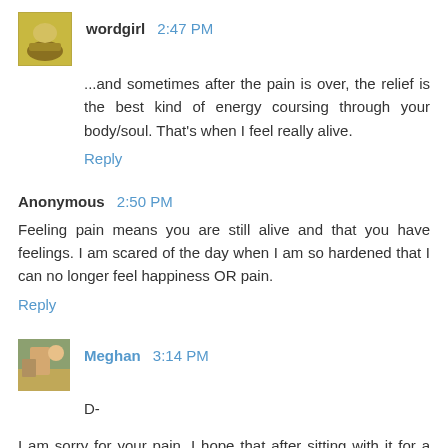wordgirl 2:47 PM
...and sometimes after the pain is over, the relief is the best kind of energy coursing through your body/soul. That's when I feel really alive.
Reply
Anonymous 2:50 PM
Feeling pain means you are still alive and that you have feelings. I am scared of the day when I am so hardened that I can no longer feel happiness OR pain.
Reply
Meghan 3:14 PM
D-
I am sorry for your pain. I hope that after sitting with it for a while, the healing process continues and you get back to...